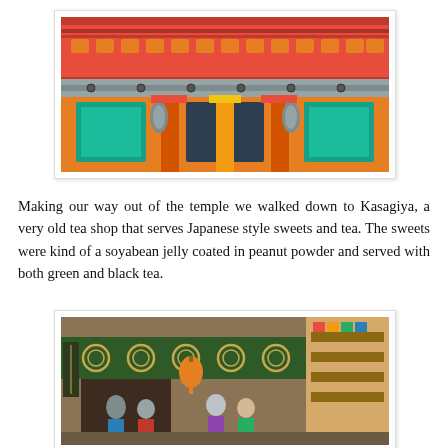[Figure (photo): Close-up photograph of a traditional Japanese temple structure with vibrant orange/red painted wooden architecture, decorative carvings, teal/green lattice panels, and ornate details viewed from below.]
Making our way out of the temple we walked down to Kasagiya, a very old tea shop that serves Japanese style sweets and tea. The sweets were kind of a soyabean jelly coated in peanut powder and served with both green and black tea.
[Figure (photo): Photograph of Kasagiya tea shop exterior showing a traditional Japanese storefront with dark green signage featuring gold circular emblems, lanterns, and people gathered outside and inside the shop.]